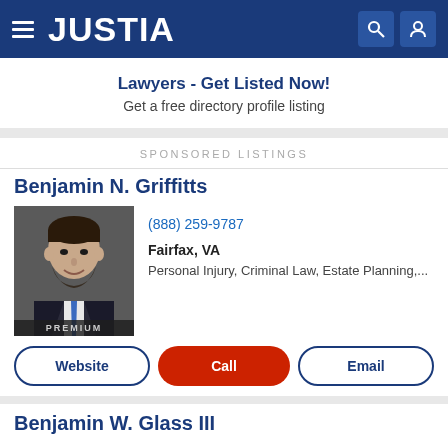JUSTIA
Lawyers - Get Listed Now! Get a free directory profile listing
SPONSORED LISTINGS
Benjamin N. Griffitts
[Figure (photo): Professional headshot of Benjamin N. Griffitts, a man in a suit and blue tie, with a PREMIUM badge at the bottom]
(888) 259-9787
Fairfax, VA
Personal Injury, Criminal Law, Estate Planning,...
Website  Call  Email
Benjamin W. Glass III